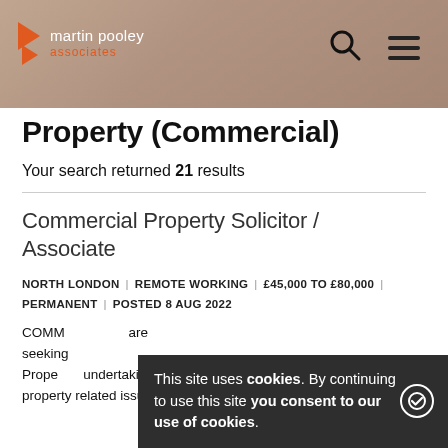[Figure (screenshot): Martin Pooley Associates website header banner with logo (double orange arrow chevrons and company name/associates text in orange), search icon, and hamburger menu icon on a blurred office background photo]
Property (Commercial)
Your search returned 21 results
Commercial Property Solicitor / Associate
NORTH LONDON | REMOTE WORKING | £45,000 TO £80,000 | PERMANENT | POSTED 8 AUG 2022
COMMERCIAL... are seeking... Property... undertaking a wide range of commercial property related issues for PLC and multinational clients
This site uses cookies. By continuing to use this site you consent to our use of cookies.